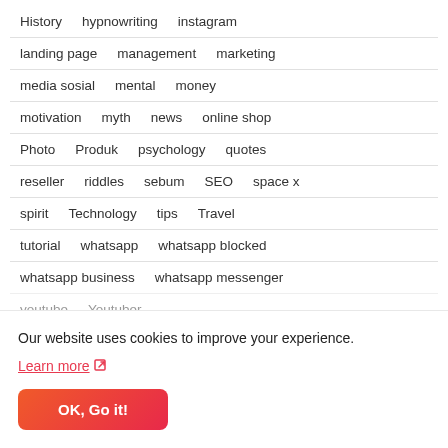History   hypnowriting   instagram
landing page   management   marketing
media sosial   mental   money
motivation   myth   news   online shop
Photo   Produk   psychology   quotes
reseller   riddles   sebum   SEO   space x
spirit   Technology   tips   Travel
tutorial   whatsapp   whatsapp blocked
whatsapp business   whatsapp messenger
youtube   Youtuber
Our website uses cookies to improve your experience.
Learn more ↗
OK, Go it!